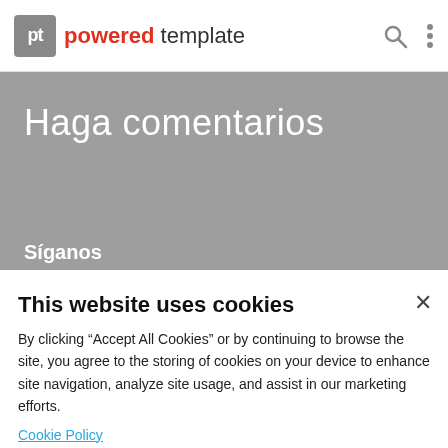powered template
Haga comentarios
Síganos
This website uses cookies
By clicking “Accept All Cookies” or by continuing to browse the site, you agree to the storing of cookies on your device to enhance site navigation, analyze site usage, and assist in our marketing efforts.
Cookie Policy
Accept All Cookies